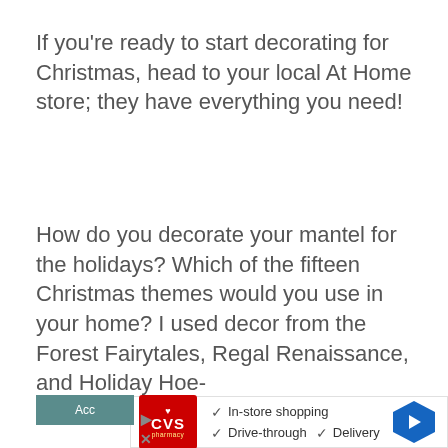If you're ready to start decorating for Christmas, head to your local At Home store; they have everything you need!
How do you decorate your mantel for the holidays? Which of the fifteen Christmas themes would you use in your home? I used decor from the Forest Fairytales, Regal Renaissance, and Holiday Hoe-
This website uses cookies to improve your experience on the site by remembering your preferences if you visit often. We never sell your information or use your email address for anything other than user login or our newsletter (if you sign up for it).
[Figure (screenshot): CVS pharmacy advertisement banner showing in-store shopping, drive-through, and delivery options with a blue arrow navigation icon]